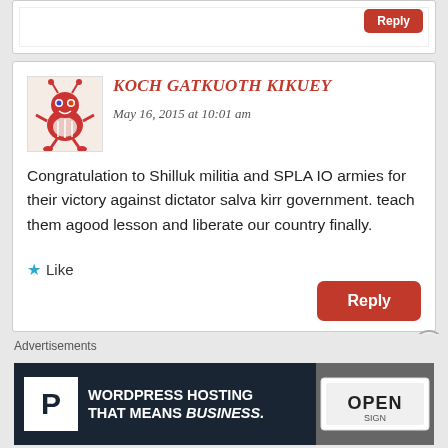[Figure (screenshot): Top stub of a comment box with a red Reply button visible at top right]
KOCH GATKUOTH KIKUEY
May 16, 2015 at 10:01 am
Congratulation to Shilluk militia and SPLA IO armies for their victory against dictator salva kirr government. teach them agood lesson and liberate our country finally.
Like
Reply
Advertisements
[Figure (screenshot): WordPress Hosting advertisement banner: white P logo on dark background, text WORDPRESS HOSTING THAT MEANS BUSINESS., with OPEN sign photo on right]